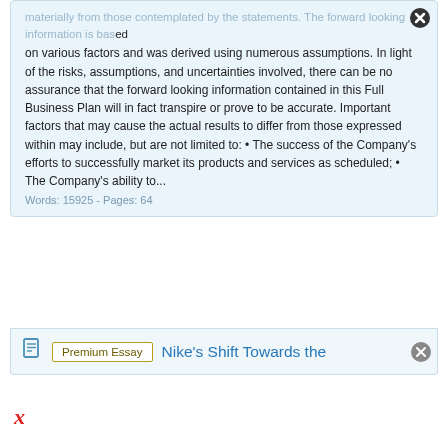materially from those contemplated by the statements. The forward looking information is based on various factors and was derived using numerous assumptions. In light of the risks, assumptions, and uncertainties involved, there can be no assurance that the forward looking information contained in this Full Business Plan will in fact transpire or prove to be accurate. Important factors that may cause the actual results to differ from those expressed within may include, but are not limited to: • The success of the Company's efforts to successfully market its products and services as scheduled; • The Company's ability to...
Words: 15925 - Pages: 64
Premium Essay
Nike's Shift Towards the